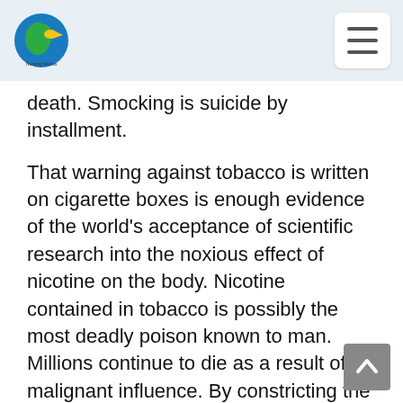Nursing Manna logo and navigation menu
death. Smocking is suicide by installment.
That warning against tobacco is written on cigarette boxes is enough evidence of the world's acceptance of scientific research into the noxious effect of nicotine on the body. Nicotine contained in tobacco is possibly the most deadly poison known to man. Millions continue to die as a result of its malignant influence. By constricting the arteries of the body, nicotine forces the heart to overexert. Lungs have become riddled with carcinoma. Fetuses have been fatally affected. Hardly an organ of the body escapes the insidious effect of the fatal nicotine poison. Yet people quit not smocking.
Tobacco is a slow, insidious, but most malignant poison. In whatever form it is used, it tells upon the constitution of the body; it is all the more dangerous because its effects are slow and at first hardly perceptible. Its use excites a thirst